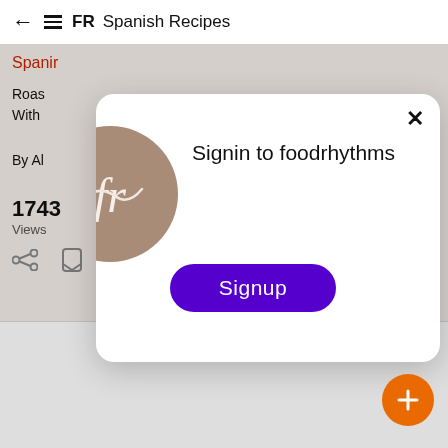← ≡ FR  Spanish Recipes
Spanis...
Roas...
With
By Al...
1743
Views
Views
[Figure (screenshot): Modal dialog with foodrhythms logo, 'Signin to foodrhythms' text, and purple Signup button with close X button]
Signup
[Figure (other): Orange circular FAB button with plus sign]